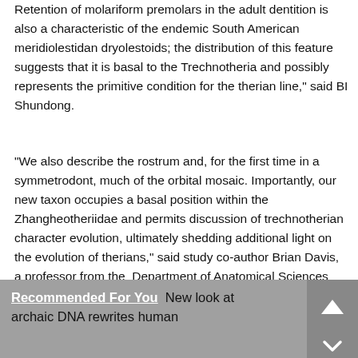Retention of molariform premolars in the adult dentition is also a characteristic of the endemic South American meridiolestidan dryolestoids; the distribution of this feature suggests that it is basal to the Trechnotheria and possibly represents the primitive condition for the therian line," said BI Shundong.
"We also describe the rostrum and, for the first time in a symmetrodont, much of the orbital mosaic. Importantly, our new taxon occupies a basal position within the Zhangheotheriidae and permits discussion of trechnotherian character evolution, ultimately shedding additional light on the evolution of therians," said study co-author Brian Davis, a professor from the  Department of Anatomical Sciences and Neurobiology at the University of Louisville.
Recommended For You  New look at archaic DNA rewrites human